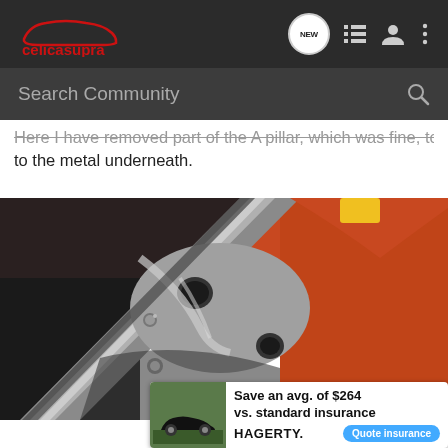celicasupra — navigation bar with logo, NEW chat, list, user, and menu icons
Search Community
Here I have removed part of the A pillar, which was fine, to get to the metal underneath.
[Figure (photo): Close-up photo of a car's A pillar area with orange body paint and bare metal structural components visible after trim removal. The metal shows fabrication details including holes and weld points.]
Save an avg. of $264 vs. standard insurance — HAGERTY — Quote insurance (advertisement)